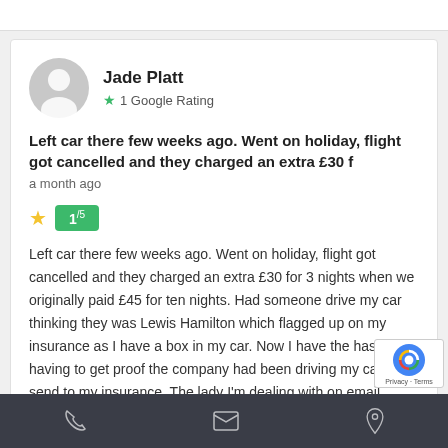Jade Platt
1 Google Rating
Left car there few weeks ago. Went on holiday, flight got cancelled and they charged an extra £30 f
a month ago
1/5
Left car there few weeks ago. Went on holiday, flight got cancelled and they charged an extra £30 for 3 nights when we originally paid £45 for ten nights. Had someone drive my car thinking they was Lewis Hamilton which flagged up on my insurance as I have a box in my car. Now I have the hassle of having to get proof the company had been driving my car to send to my insurance. The lady I'm dealing with on email
phone | email | location